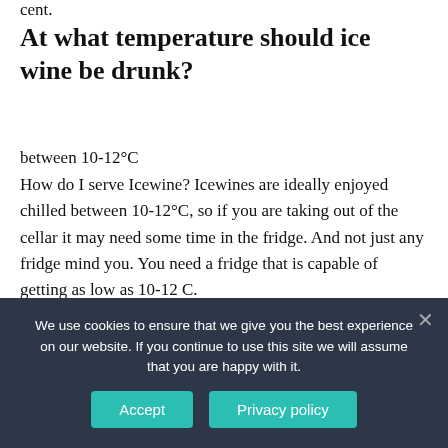cent.
At what temperature should ice wine be drunk?
between 10-12°C
How do I serve Icewine? Icewines are ideally enjoyed chilled between 10-12°C, so if you are taking out of the cellar it may need some time in the fridge. And not just any fridge mind you. You need a fridge that is capable of getting as low as 10-12 C.
Why is ice wine so expensive?
We use cookies to ensure that we give you the best experience on our website. If you continue to use this site we will assume that you are happy with it.